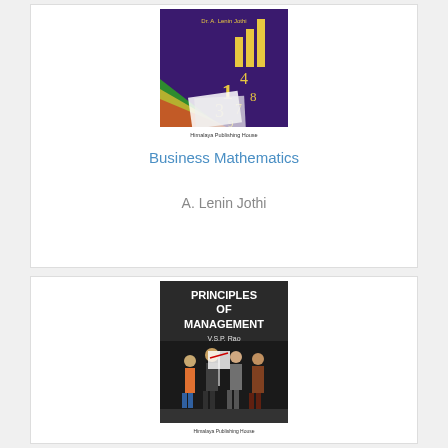[Figure (photo): Book cover of Business Mathematics by Dr. A. Lenin Jothi, published by Himalaya Publishing House. Cover shows colorful numbers and bar charts on a dark background.]
Business Mathematics
A. Lenin Jothi
[Figure (photo): Book cover of Principles of Management by V.S.P. Rao, published by Himalaya Publishing House. Cover shows people standing in a group on a dark background with title text in large white letters.]